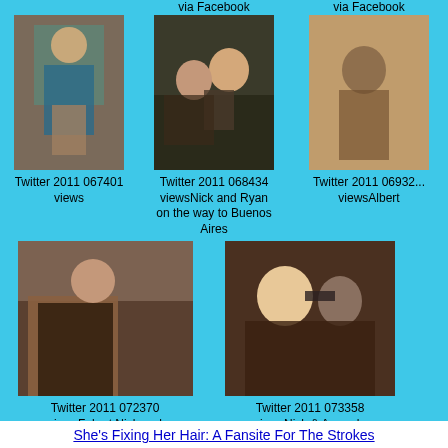via Facebook
via Facebook
[Figure (photo): Person holding a folder, standing indoors]
[Figure (photo): Nick and Ryan on the way to Buenos Aires]
[Figure (photo): Albert, sepia-toned photo]
Twitter 2011 067401 views
Twitter 2011 068434 viewsNick and Ryan on the way to Buenos Aires
Twitter 2011 069320 viewsAlbert
[Figure (photo): Fab sitting at Nick and Amanda's house]
[Figure (photo): Nick and Amanda selfie]
Twitter 2011 072370 viewsFab at Nick and Amanda's house
Twitter 2011 073358 viewsNick & Amanda
72 files on 1 page(s)
Powered by Coppermine Ph
She's Fixing Her Hair: A Fansite For The Strokes